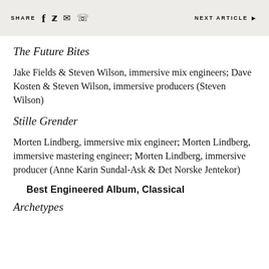SHARE  f  Twitter  Email  WhatsApp    NEXT ARTICLE ▶
The Future Bites
Jake Fields & Steven Wilson, immersive mix engineers; Dave Kosten & Steven Wilson, immersive producers (Steven Wilson)
Stille Grender
Morten Lindberg, immersive mix engineer; Morten Lindberg, immersive mastering engineer; Morten Lindberg, immersive producer (Anne Karin Sundal-Ask & Det Norske Jentekor)
Best Engineered Album, Classical
Archetypes